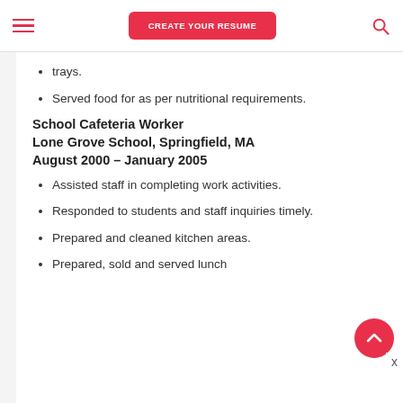CREATE YOUR RESUME
trays.
Served food for as per nutritional requirements.
School Cafeteria Worker
Lone Grove School, Springfield, MA
August 2000 – January 2005
Assisted staff in completing work activities.
Responded to students and staff inquiries timely.
Prepared and cleaned kitchen areas.
Prepared, sold and served lunch